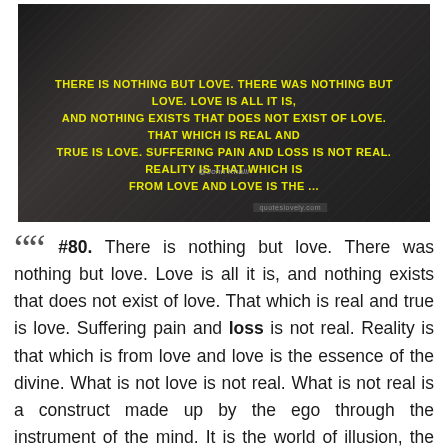[Figure (photo): Dark textured background image with yellow bold uppercase text quote: 'THERE IS NOTHING BUT LOVE. THERE WAS NOTHING BUT LOVE. LOVE IS ALL IT IS, AND NOTHING EXISTS THAT DOES NOT EXIST OF LOVE. THAT WHICH IS REAL AND TRUE IS LOVE. SUFFERING PAIN AND LOSS IS NOT REAL. REALITY IS THAT WHICH IS FROM LOVE AND LOVE IS THE ...' with attribution text and a website watermark at the bottom.]
““ #80. There is nothing but love. There was nothing but love. Love is all it is, and nothing exists that does not exist of love. That which is real and true is love. Suffering pain and loss is not real. Reality is that which is from love and love is the essence of the divine. What is not love is not real. What is not real is a construct made up by the ego through the instrument of the mind. It is the world of illusion, the veil on our eyes of utter darkness preventing us from seeing that